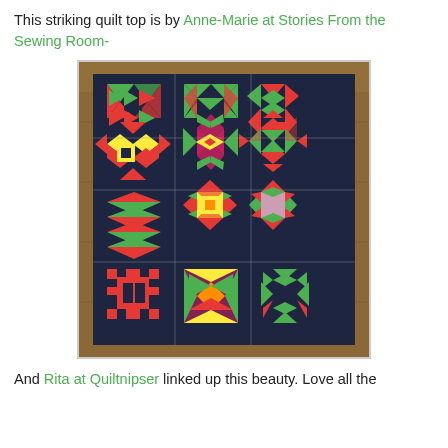This striking quilt top is by Anne-Marie at Stories From the Sewing Room-
[Figure (photo): A quilt top photographed on a wooden floor. The quilt has a dark navy/black background with a 3x4 grid of quilt blocks in bright red and green fabrics, featuring various star, pinwheel, and geometric patchwork patterns.]
And Rita at Quiltnipser linked up this beauty. Love all the